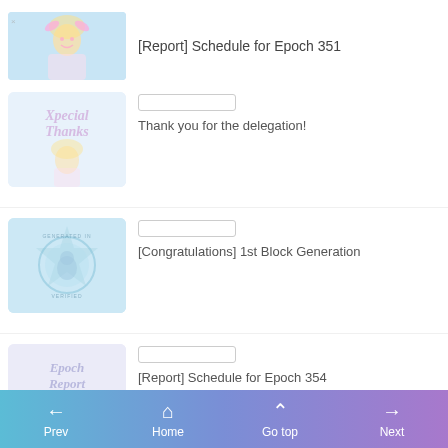[Figure (illustration): Anime character thumbnail with blue background, top entry for Epoch 351 report]
[Report] Schedule for Epoch 351
[Figure (illustration): Special Thanks anime character illustration with pink/purple watermark text]
Thank you for the delegation!
[Figure (illustration): Congratulations badge stamp illustration in teal/blue]
[Congratulations] 1st Block Generation
[Figure (illustration): Epoch Report anime illustration with purple/blue watermark text]
[Report] Schedule for Epoch 354
[Figure (illustration): Partial Epoch illustration at bottom, cut off]
Prev  Home  Go top  Next